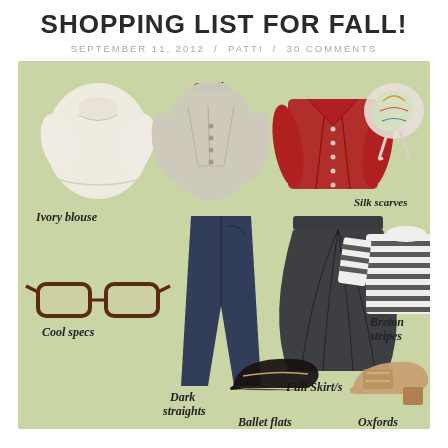SHOPPING LIST FOR FALL!
SEPTEMBER 11, 2012 / PATTI / 30 COMMENTS
[Figure (infographic): Fall shopping list infographic on sage green background showing: Ivory blouse, Cardis (beige and red cardigans), Silk scarves, Cool specs, Dark straights (dark jeans), Full Skirt/s (black full skirt), Breton stripes (striped top), Ballet flats, Oxfords]